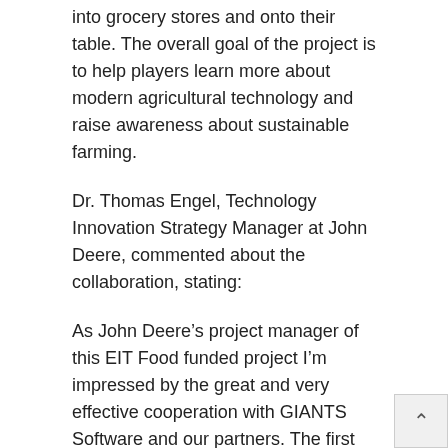into grocery stores and onto their table. The overall goal of the project is to help players learn more about modern agricultural technology and raise awareness about sustainable farming.
Dr. Thomas Engel, Technology Innovation Strategy Manager at John Deere, commented about the collaboration, stating:
As John Deere’s project manager of this EIT Food funded project I’m impressed by the great and very effective cooperation with GIANTS Software and our partners. The first version of the DLC already offers more than I expected. Features like soil sampling and variable fertilizing offer a great introduction into the world of Precision Farming. I’m convinced that we’re able to massively strengthen the knowledge about modern agriculture within the gaming community.
Farming Simulator is currently available on PC, Mac,